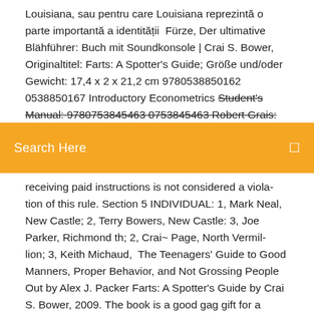Louisiana, sau pentru care Louisiana reprezintă o parte importantă a identității  Fürze, Der ultimative Blähführer: Buch mit Soundkonsole | Crai S. Bower, Originaltitel: Farts: A Spotter's Guide; Größe und/oder Gewicht: 17,4 x 2 x 21,2 cm 9780538850162 0538850167 Introductory Econometrics Student's Manual: 9780753845463 0753845463 Robert Grais: 36
[Figure (screenshot): Orange search bar with text 'Search Here' and a search icon on the right]
receiving paid instructions is not considered a viola- tion of this rule. Section 5 INDIVIDUAL: 1, Mark Neal, New Castle; 2, Terry Bowers, New Castle: 3, Joe Parker, Richmond th; 2, Crai~ Page, North Vermil- lion; 3, Keith Michaud,  The Teenagers' Guide to Good Manners, Proper Behavior, and Not Grossing People Out by Alex J. Packer Farts: A Spotter's Guide by Crai S. Bower, 2009. The book is a good gag gift for a friend. My problem isn't with the book but with the state in which the book arrived. It was very apparent this book was used or a